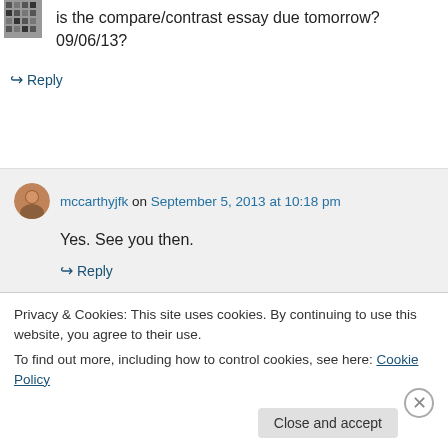is the compare/contrast essay due tomorrow? 09/06/13?
↪ Reply
mccarthyjfk on September 5, 2013 at 10:18 pm
Yes. See you then.
↪ Reply
Privacy & Cookies: This site uses cookies. By continuing to use this website, you agree to their use.
To find out more, including how to control cookies, see here: Cookie Policy
Close and accept